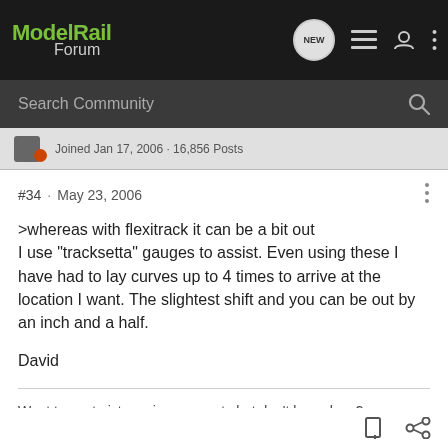ModelRail Forum
Joined Jan 17, 2006 · 16,856 Posts
#34 · May 23, 2006
>whereas with flexitrack it can be a bit out
I use "tracksetta" gauges to assist. Even using these I have had to lay curves up to 4 times to arrive at the location I want. The slightest shift and you can be out by an inch and a half.

David
Want to post pictures in your posts but don't know how? Instructions can be found in this topic